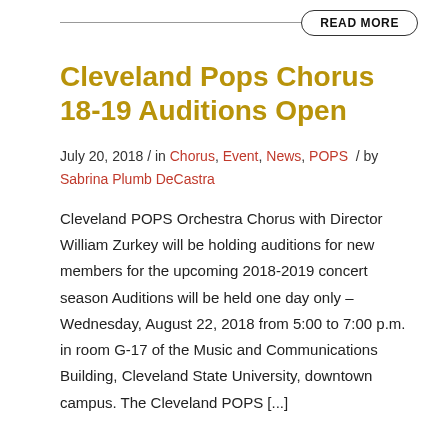READ MORE
Cleveland Pops Chorus 18-19 Auditions Open
July 20, 2018 / in Chorus, Event, News, POPS / by Sabrina Plumb DeCastra
Cleveland POPS Orchestra Chorus with Director William Zurkey will be holding auditions for new members for the upcoming 2018-2019 concert season Auditions will be held one day only – Wednesday, August 22, 2018 from 5:00 to 7:00 p.m. in room G-17 of the Music and Communications Building, Cleveland State University, downtown campus. The Cleveland POPS [...]